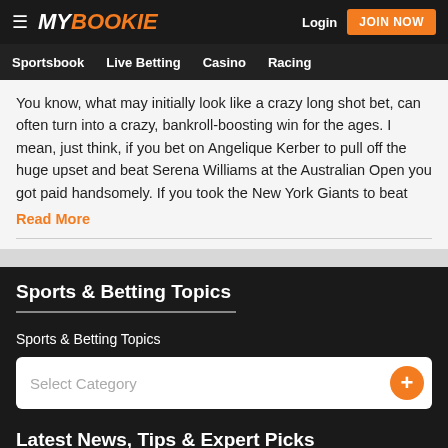MY BOOKIE — Login | JOIN NOW | Sportsbook | Live Betting | Casino | Racing
You know, what may initially look like a crazy long shot bet, can often turn into a crazy, bankroll-boosting win for the ages. I mean, just think, if you bet on Angelique Kerber to pull off the huge upset and beat Serena Williams at the Australian Open you got paid handsomely. If you took the New York Giants to beat
Read More
Sports & Betting Topics
Sports & Betting Topics
Select Category
Latest News, Tips & Expert Picks